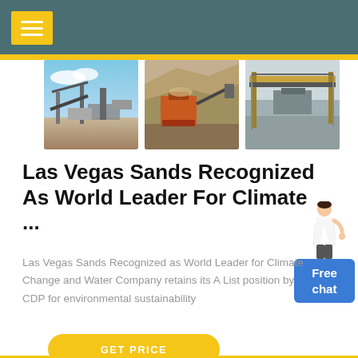[Figure (photo): Three photos of industrial mining/crushing equipment and machinery]
Las Vegas Sands Recognized As World Leader For Climate ...
Las Vegas Sands Recognized as World Leader for Climate Change and Water Company retains its A List position by CDP for environmental sustainability
GET PRICE